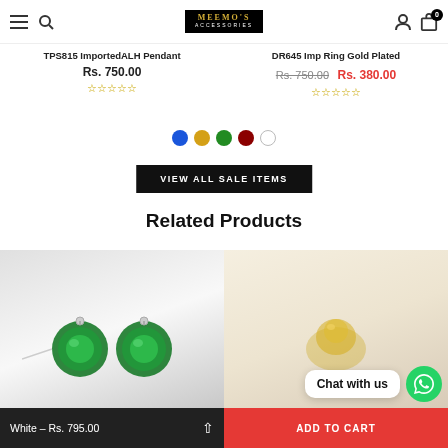Meemo's Accessories navigation bar
TPS815 ImportedALH Pendant
Rs. 750.00
DR645 Imp Ring Gold Plated
Rs. 750.00 Rs. 380.00
[Figure (screenshot): Color swatches: blue, gold/yellow, green, dark red, white]
VIEW ALL SALE ITEMS
Related Products
[Figure (photo): Green crystal stud earrings on white/silver background]
[Figure (photo): Gold earring on blurred beige background]
White – Rs. 795.00
ADD TO CART
Chat with us